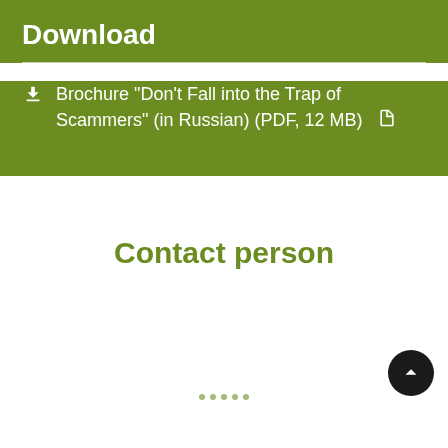Download
Brochure "Don't Fall into the Trap of Scammers" (in Russian) (PDF, 12 MB)
Contact person